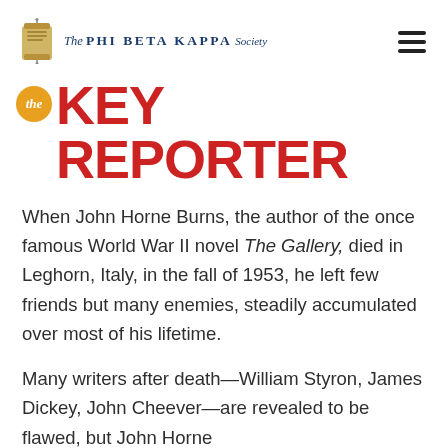The Phi Beta Kappa Society
The KEY REPORTER
When John Horne Burns, the author of the once famous World War II novel The Gallery, died in Leghorn, Italy, in the fall of 1953, he left few friends but many enemies, steadily accumulated over most of his lifetime.
Many writers after death—William Styron, James Dickey, John Cheever—are revealed to be flawed, but John Horne